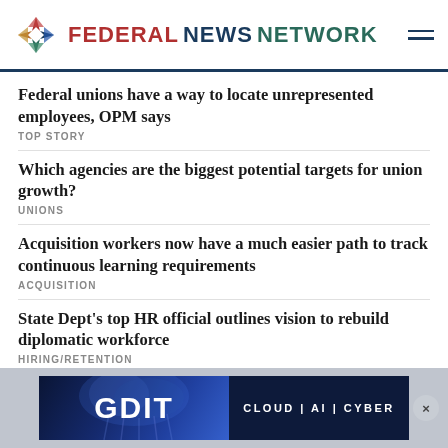FEDERAL NEWS NETWORK
Federal unions have a way to locate unrepresented employees, OPM says
TOP STORY
Which agencies are the biggest potential targets for union growth?
UNIONS
Acquisition workers now have a much easier path to track continuous learning requirements
ACQUISITION
State Dept's top HR official outlines vision to rebuild diplomatic workforce
HIRING/RETENTION
New pilot program will give Army Guard members childcare on drill days
ARMY
[Figure (advertisement): GDIT advertisement banner: CLOUD | AI | CYBER with jellyfish image]